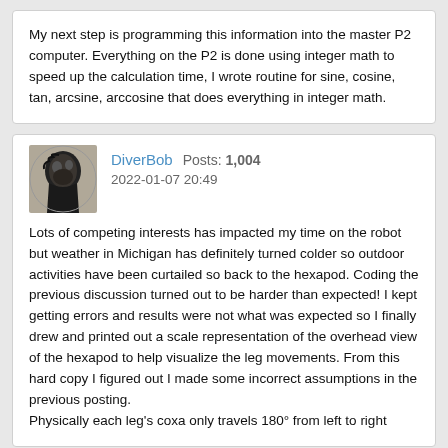My next step is programming this information into the master P2 computer. Everything on the P2 is done using integer math to speed up the calculation time, I wrote routine for sine, cosine, tan, arcsine, arccosine that does everything in integer math.
DiverBob  Posts: 1,004
2022-01-07 20:49
Lots of competing interests has impacted my time on the robot but weather in Michigan has definitely turned colder so outdoor activities have been curtailed so back to the hexapod. Coding the previous discussion turned out to be harder than expected! I kept getting errors and results were not what was expected so I finally drew and printed out a scale representation of the overhead view of the hexapod to help visualize the leg movements. From this hard copy I figured out I made some incorrect assumptions in the previous posting.
Physically each leg's coxa only travels 180° from left to right